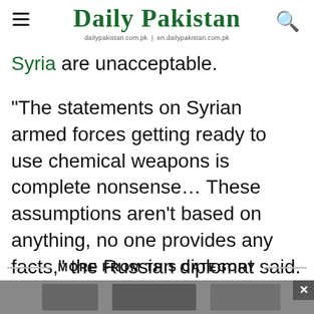Daily Pakistan — dailypakistan.com.pk | en.dailypakistan.com.pk
Syria are unacceptable.
"The statements on Syrian armed forces getting ready to use chemical weapons is complete nonsense... These assumptions aren't based on anything, no one provides any facts," the Russian diplomat said.
MORE FROM THIS CATEGORY
[Figure (photo): Bottom photo partially visible, showing people in what appears to be an interior setting]